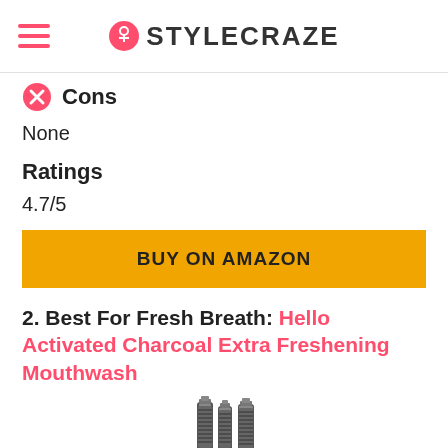STYLECRAZE
Cons
None
Ratings
4.7/5
BUY ON AMAZON
2. Best For Fresh Breath: Hello Activated Charcoal Extra Freshening Mouthwash
[Figure (photo): Three bottles of Hello Activated Charcoal Extra Freshening Mouthwash shown at the bottom of the page]